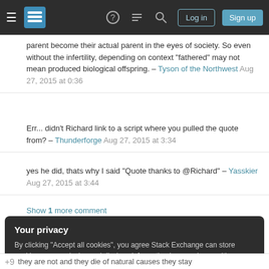Stack Exchange navigation bar with hamburger menu, logo, help, chat, search, Log in, Sign up
parent become their actual parent in the eyes of society. So even without the infertility, depending on context "fathered" may not mean produced biological offspring. – Tyson of the Northwest Aug 27, 2015 at 0:36
Err... didn't Richard link to a script where you pulled the quote from? – Thunderforge Aug 27, 2015 at 3:34
yes he did, thats why I said "Quote thanks to @Richard" – Yasskier Aug 27, 2015 at 3:44
Show 1 more comment
Your privacy
By clicking "Accept all cookies", you agree Stack Exchange can store cookies on your device and disclose information in accordance with our Cookie Policy.
Accept all cookies | Customize settings
they are not and they die of natural causes they stay